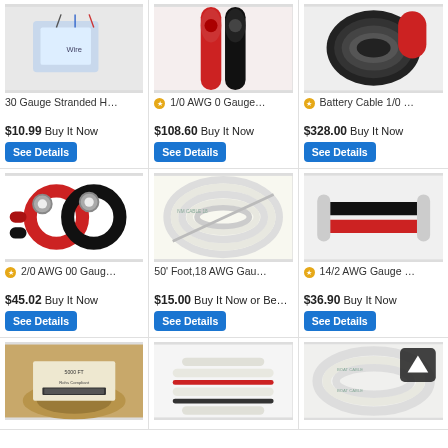[Figure (photo): 30 Gauge Stranded wire product image - box with wires]
30 Gauge Stranded H…
$10.99 Buy It Now
See Details
[Figure (photo): 1/0 AWG 0 Gauge wire product image - red and black cables]
1/0 AWG 0 Gauge…
$108.60 Buy It Now
See Details
[Figure (photo): Battery Cable 1/0 product image - coiled black cables]
Battery Cable 1/0 …
$328.00 Buy It Now
See Details
[Figure (photo): 2/0 AWG 00 Gauge wire with ring terminals - red and black]
2/0 AWG 00 Gaug…
$45.02 Buy It Now
See Details
[Figure (photo): 50 Foot 18 AWG Gauge wire coiled white]
50' Foot,18 AWG Gau…
$15.00 Buy It Now or Be…
See Details
[Figure (photo): 14/2 AWG Gauge wire - black red dual conductor]
14/2 AWG Gauge …
$36.90 Buy It Now
See Details
[Figure (photo): Wire spool with label showing 5000 FT]
[Figure (photo): Flat ribbon wire white with red stripe]
[Figure (photo): Coiled white cable with text markings, scroll up button overlay]